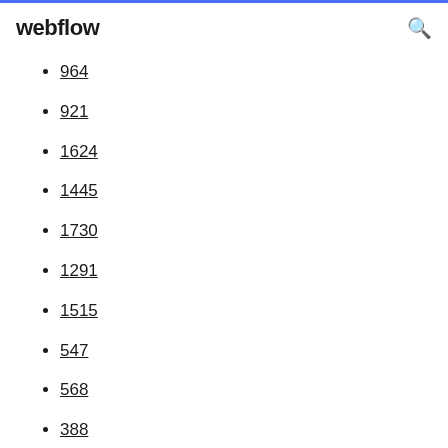webflow
964
921
1624
1445
1730
1291
1515
547
568
388
1295
1214
1479